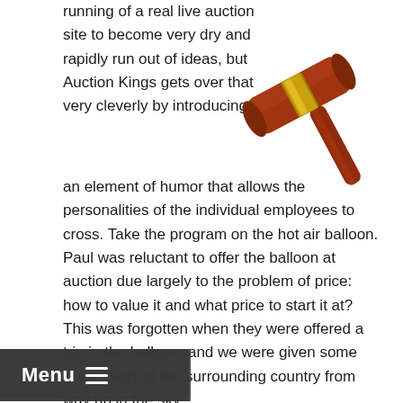[Figure (illustration): A wooden auctioneer gavel with a gold band, shown at an angle against a white background]
running of a real live auction site to become very dry and rapidly run out of ideas, but Auction Kings gets over that very cleverly by introducing an element of humor that allows the personalities of the individual employees to cross. Take the program on the hot air balloon. Paul was reluctant to offer the balloon at auction due largely to the problem of price: how to value it and what price to start it at? This was forgotten when they were offered a trip in the balloon, and we were given some great shots of the surrounding country from way up in the sky.
The vampire killer program was interesting in that there was genuine belief in vampires in the 19th century, and vampire killing kits were fitted out with holy water, a bible, silver cross and dagger and silver-tipped crossbow bolts in